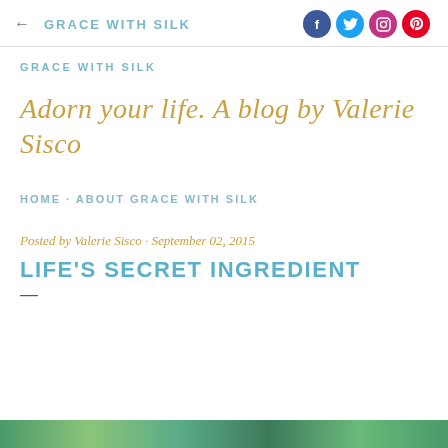← GRACE WITH SILK
GRACE WITH SILK
Adorn your life. A blog by Valerie Sisco
HOME · ABOUT GRACE WITH SILK
Posted by Valerie Sisco · September 02, 2015
LIFE'S SECRET INGREDIENT
[Figure (photo): Partial view of a colorful image at the bottom of the page, appearing green and teal toned.]